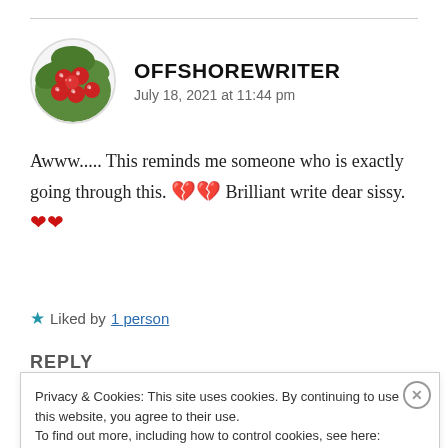OFFSHOREWRITER
July 18, 2021 at 11:44 pm
Awww..... This reminds me someone who is exactly going through this. 💔💔 Brilliant write dear sissy. ❤❤
★ Liked by 1 person
REPLY
Privacy & Cookies: This site uses cookies. By continuing to use this website, you agree to their use.
To find out more, including how to control cookies, see here: Cookie Policy
Close and accept